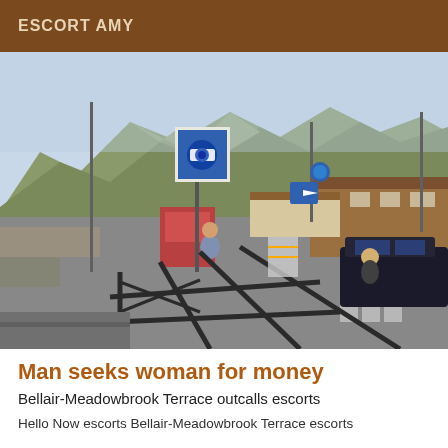ESCORT AMY
[Figure (photo): Outdoor scene showing a mountain backdrop with a parking area/checkpoint. A blue surveillance camera sign on a pole is visible in the foreground. People near a red kiosk on the left and a dark car on the right. A wooden structure/building visible in the middle background.]
Man seeks woman for money
Bellair-Meadowbrook Terrace outcalls escorts
Hello Now escorts Bellair-Meadowbrook Terrace escorts